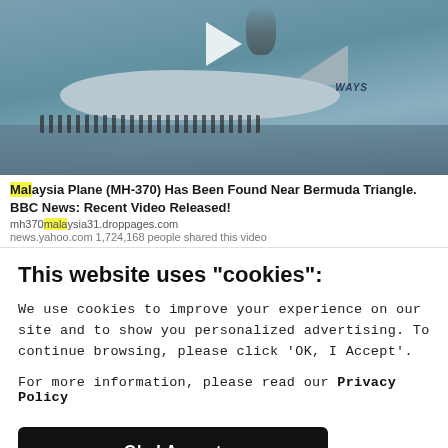[Figure (screenshot): A screenshot showing a news card with an airplane emergency landing on water (appears to be from a video thumbnail), showing people standing on the wings/fuselage. A play button is visible. The card shows a headline about Malaysia Plane MH-370. Below is a cookie consent dialog.]
Malaysia Plane (MH-370) Has Been Found Near Bermuda Triangle. BBC News: Recent Video Released!
mh370malaysia31.droppages.com
news.yahoo.com 1,724,168 people shared this video
This website uses "cookies":
We use cookies to improve your experience on our site and to show you personalized advertising. To continue browsing, please click ‘OK, I Accept’.
For more information, please read our Privacy Policy
Ok, I Accept